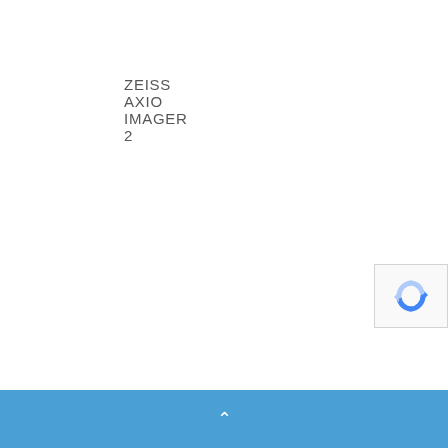ZEISS AXIO IMAGER 2
[Figure (logo): reCAPTCHA widget icon showing blue circular arrows logo]
^